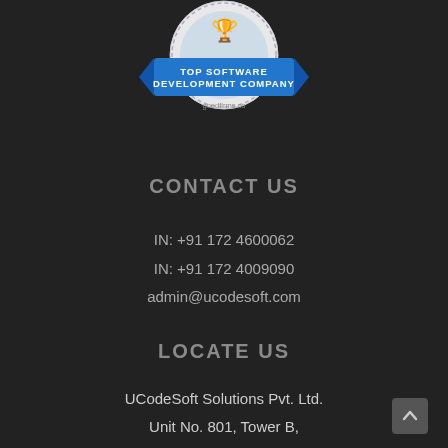[Figure (logo): Goodfirms.co badge: Top Software Development Company, circular badge with blue ribbon banner]
CONTACT US
IN: +91 172 4600062
IN: +91 172 4009090
admin@ucodesoft.com
LOCATE US
UCodeSoft Solutions Pvt. Ltd.
Unit No. 801, Tower B,
Bestech Business Towers,